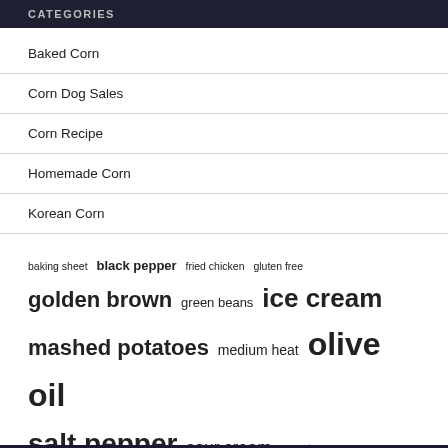CATEGORIES
Baked Corn
Corn Dog Sales
Corn Recipe
Homemade Corn
Korean Corn
baking sheet  black pepper  fried chicken  gluten free  golden brown  green beans  ice cream  mashed potatoes  medium heat  olive oil  salt pepper  sour cream  sweet corn  sweet potatoes  united states